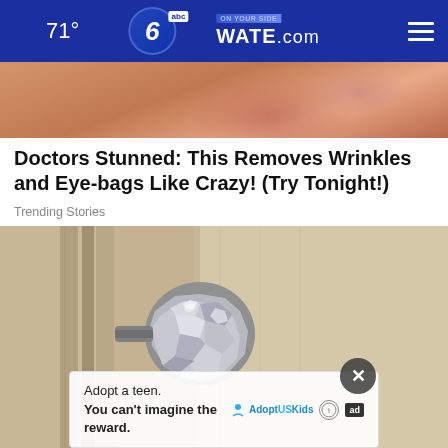71° | 6abc WATE.com
[Figure (photo): Close-up photo of skin, warm peachy-orange tones, cropped tightly]
Doctors Stunned: This Removes Wrinkles and Eye-bags Like Crazy! (Try Tonight!)
Trending Stories
[Figure (photo): Photo of a door knob wrapped in aluminum foil, on a wooden door]
Adopt a teen. You can't imagine the reward.